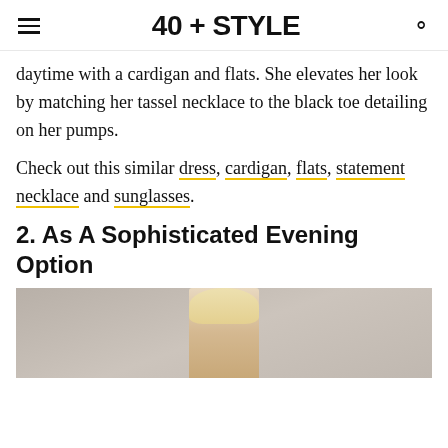40 + STYLE
daytime with a cardigan and flats. She elevates her look by matching her tassel necklace to the black toe detailing on her pumps.
Check out this similar dress, cardigan, flats, statement necklace and sunglasses.
2. As A Sophisticated Evening Option
[Figure (photo): Photo of a woman, partially visible, appearing to be at an evening event. Brick wall background visible.]